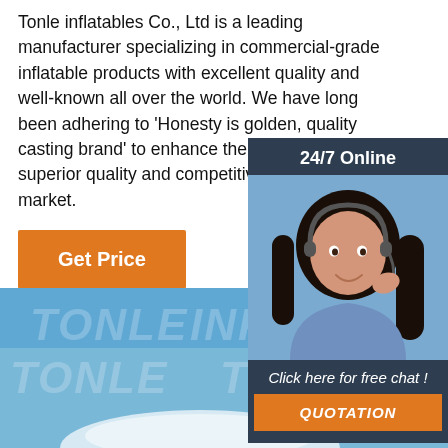Tonle inflatables Co., Ltd is a leading manufacturer specializing in commercial-grade inflatable products with excellent quality and well-known all over the world. We have long been adhering to 'Honesty is golden, quality casting brand' to enhance the brand power, o... superior quality and competitive price to open... market.
[Figure (other): Orange 'Get Price' button]
[Figure (other): 24/7 Online chat widget with customer service representative photo, dark blue background, 'Click here for free chat!' text and orange QUOTATION button]
[Figure (photo): Blue sky background with TONLE watermark text repeated, white inflatable structure visible at bottom, orange TOP badge in lower right corner]